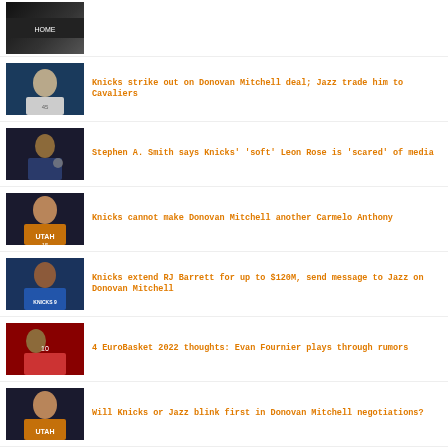[Figure (photo): Thumbnail image top - dark/game scene with HOME text]
Knicks strike out on Donovan Mitchell deal; Jazz trade him to Cavaliers
[Figure (photo): Donovan Mitchell in Utah Jazz uniform]
Stephen A. Smith says Knicks' 'soft' Leon Rose is 'scared' of media
[Figure (photo): Stephen A. Smith with microphone]
Knicks cannot make Donovan Mitchell another Carmelo Anthony
[Figure (photo): Donovan Mitchell in Utah Jazz uniform close up]
Knicks extend RJ Barrett for up to $120M, send message to Jazz on Donovan Mitchell
[Figure (photo): RJ Barrett in Knicks uniform]
4 EuroBasket 2022 thoughts: Evan Fournier plays through rumors
[Figure (photo): Player with hands on head basketball game]
Will Knicks or Jazz blink first in Donovan Mitchell negotiations?
[Figure (photo): Donovan Mitchell Utah Jazz uniform]
NBA to retire Bill Russell's No. 6 league-wide
[Figure (photo): Dark thumbnail image player]